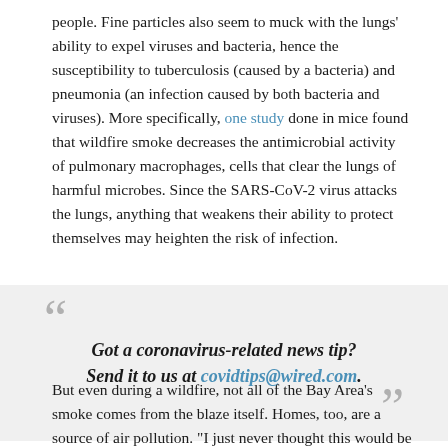people. Fine particles also seem to muck with the lungs' ability to expel viruses and bacteria, hence the susceptibility to tuberculosis (caused by a bacteria) and pneumonia (an infection caused by both bacteria and viruses). More specifically, one study done in mice found that wildfire smoke decreases the antimicrobial activity of pulmonary macrophages, cells that clear the lungs of harmful microbes. Since the SARS-CoV-2 virus attacks the lungs, anything that weakens their ability to protect themselves may heighten the risk of infection.
Got a coronavirus-related news tip? Send it to us at covidtips@wired.com.
But even during a wildfire, not all of the Bay Area's smoke comes from the blaze itself. Homes, too, are a source of air pollution. "I just never thought this would be the case, but